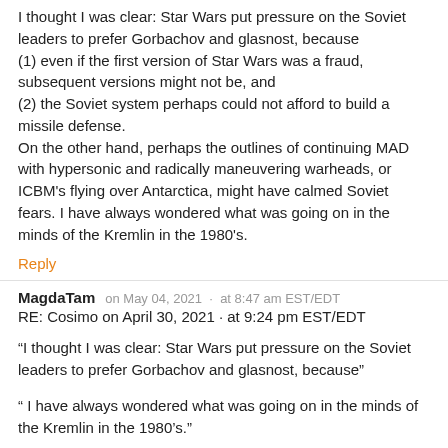I thought I was clear: Star Wars put pressure on the Soviet leaders to prefer Gorbachov and glasnost, because
(1) even if the first version of Star Wars was a fraud, subsequent versions might not be, and
(2) the Soviet system perhaps could not afford to build a missile defense.
On the other hand, perhaps the outlines of continuing MAD with hypersonic and radically maneuvering warheads, or ICBM's flying over Antarctica, might have calmed Soviet fears. I have always wondered what was going on in the minds of the Kremlin in the 1980's.
Reply
MagdaTam   on May 04, 2021  ·  at 8:47 am EST/EDT
RE: Cosimo on April 30, 2021 · at 9:24 pm EST/EDT
“I thought I was clear: Star Wars put pressure on the Soviet leaders to prefer Gorbachov and glasnost, because”
“ I have always wondered what was going on in the minds of the Kremlin in the 1980’s.”